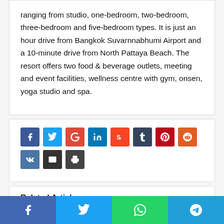ranging from studio, one-bedroom, two-bedroom, three-bedroom and five-bedroom types. It is just an hour drive from Bangkok Suvarnnabhumi Airport and a 10-minute drive from North Pattaya Beach. The resort offers two food & beverage outlets, meeting and event facilities, wellness centre with gym, onsen, yoga studio and spa.
[Figure (infographic): Row of social media share buttons: Facebook (blue), Twitter (light blue), Google+ (red), LinkedIn (blue), StumbleUpon (orange-red), Tumblr (dark navy), Pinterest (dark red), Reddit (orange). Second row: VK (steel blue), Email (dark gray), Print (dark gray).]
Related Articles
[Figure (infographic): Bottom fixed share bar with four buttons: Facebook (blue), Twitter (light blue), WhatsApp (green), Telegram (blue). Each shows an icon in white.]